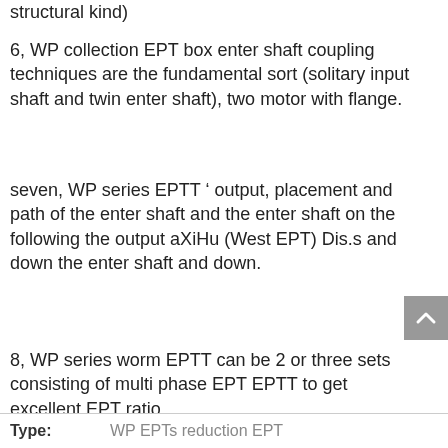structural kind)
6, WP collection EPT box enter shaft coupling techniques are the fundamental sort (solitary input shaft and twin enter shaft), two motor with flange.
seven, WP series EPTT ‘ output, placement and path of the enter shaft and the enter shaft on the following the output aXiHu (West EPT) Dis.s and down the enter shaft and down.
8, WP series worm EPTT can be 2 or three sets consisting of multi phase EPT EPTT to get excellent EPT ratio.
| Type: |  |
| --- | --- |
| Type: | WP EPTs reduction EPT |